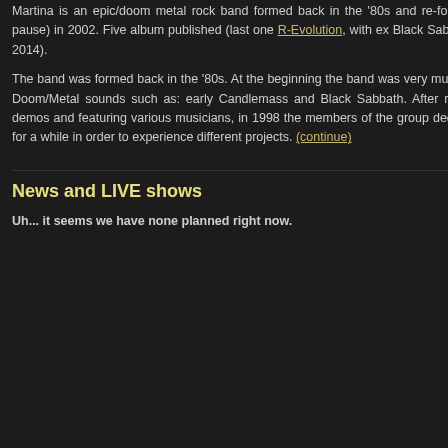Martina is an epic/doom metal rock band formed back in the '80s and re-founded (after a long pause) in 2002. Five album published (last one R-Evolution, with ex Black Sabbath Vinny Appice - 2014).
The band was formed back in the '80s. At the beginning the band was very much oriented towards Doom/Metal sounds such as: early Candlemass and Black Sabbath. After releasing just a few demos and featuring various musicians, in 1998 the members of the group decide to take a break for a while in order to experience different projects. (continue)
News and LIVE shows
Uh... it seems we have none planned right now.
so this is way banal, but me feel like I'm going dee...
Drought is more of a pro... religion. It has cut guitar ... sounds with keyboards. ... and solo on last string. Th... sound and while drum fi... continue as it began, I thi...
Apocalypse is one of the ... on electric. Vocals are r... calms down again. The b... to. Guitar riffs and keyboa... also second solo, which... again...
I don't understand, why n... actual name? Well, It's ne... longed riffs, while in other... so quick and so beautiful,...
Ashes to Ashes is the firs... album would sound). So ... radically different sound. ... and almost suddenly it s... solo, so I will not write eve...